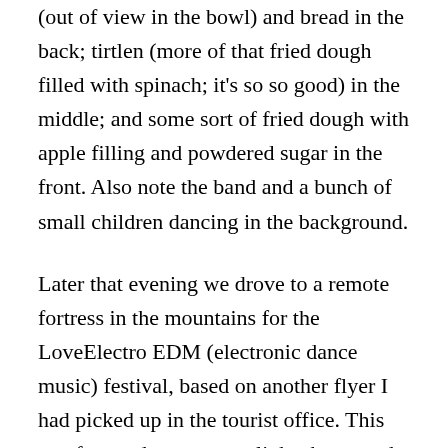(out of view in the bowl) and bread in the back; tirtlen (more of that fried dough filled with spinach; it's so so good) in the middle; and some sort of fried dough with apple filling and powdered sugar in the front. Also note the band and a bunch of small children dancing in the background.
Later that evening we drove to a remote fortress in the mountains for the LoveElectro EDM (electronic dance music) festival, based on another flyer I had picked up in the tourist office. This one featured two stages, light shows and lasers, and terrible mixed drinks. It was great fun! It rained almost the whole time, but part of the grounds were sheltered and it kept the crowd cool. We danced for a few hours to a really good DJ from